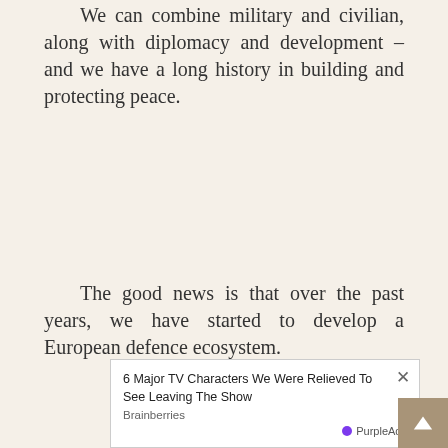We can combine military and civilian, along with diplomacy and development – and we have a long history in building and protecting peace.
The good news is that over the past years, we have started to develop a European defence ecosystem.
But what we need is the European Defence Union.
In the last weeks, there have been many discussions on expe[nding/riences of a] type [of] battle[field...]
This is no doubt part of the